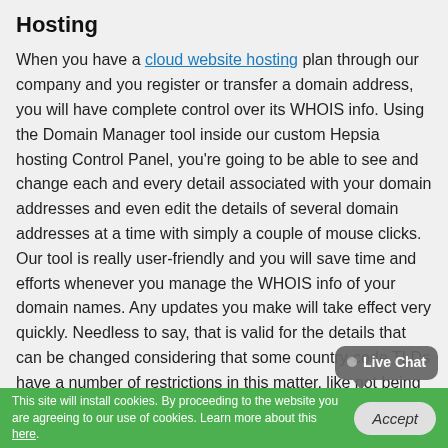Hosting
When you have a cloud website hosting plan through our company and you register or transfer a domain address, you will have complete control over its WHOIS info. Using the Domain Manager tool inside our custom Hepsia hosting Control Panel, you're going to be able to see and change each and every detail associated with your domain addresses and even edit the details of several domain addresses at a time with simply a couple of mouse clicks. Our tool is really user-friendly and you will save time and efforts whenever you manage the WHOIS info of your domain names. Any updates you make will take effect very quickly. Needless to say, that is valid for the details that can be changed considering that some country-code TLDs have a number of restrictions in this matter, like not being able to edit the owner names once a domain name is
[Figure (other): Live Chat speech bubble widget in grey]
This site will install cookies. By proceeding to the website you are agreeing to our use of cookies. Learn more about this here.